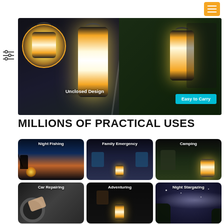[Figure (photo): Navigation bar with orange hamburger menu button and filter icon]
[Figure (photo): Hero banner showing yellow LED camping lantern with 'Unclosed Design' label on left and 'Easy to Carry' badge on right, dark background]
MILLIONS OF PRACTICAL USES
[Figure (photo): Grid of 6 use-case images: Night Fishing, Family Emergency, Camping, Car Repairing, Adventuring, Night Stargazing — each showing the camping lantern in use]
Night Fishing
Family Emergency
Camping
Car Repairing
Adventuring
Night Stargazing